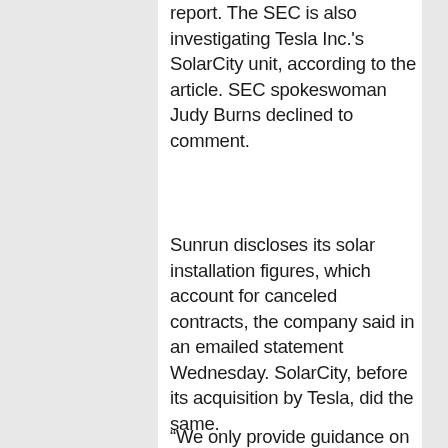report. The SEC is also investigating Tesla Inc.'s SolarCity unit, according to the article. SEC spokeswoman Judy Burns declined to comment.
Sunrun discloses its solar installation figures, which account for canceled contracts, the company said in an emailed statement Wednesday. SolarCity, before its acquisition by Tesla, did the same.
“We only provide guidance on